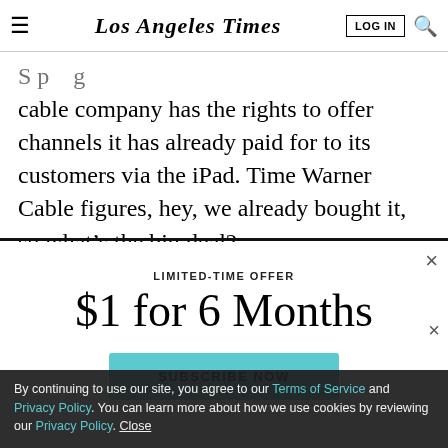Los Angeles Times | LOG IN | Search
cable company has the rights to offer channels it has already paid for to its customers via the iPad. Time Warner Cable figures, hey, we already bought it, so what’s the big deal?
LIMITED-TIME OFFER
$1 for 6 Months
SUBSCRIBE NOW
By continuing to use our site, you agree to our Terms of Service and Privacy Policy. You can learn more about how we use cookies by reviewing our Privacy Policy. Close